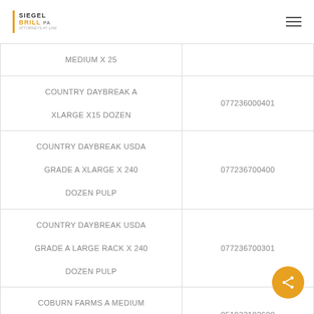SIEGEL BRILL PA
| Product | Code |
| --- | --- |
| MEDIUM X 25 |  |
| COUNTRY DAYBREAK A XLARGE X15 DOZEN | 077236000401 |
| COUNTRY DAYBREAK USDA GRADE A XLARGE X 240 DOZEN PULP | 077236700400 |
| COUNTRY DAYBREAK USDA GRADE A LARGE RACK X 240 DOZEN PULP | 077236700301 |
| COBURN FARMS A MEDIUM MP X 30 DOZEN | 051933182608 |